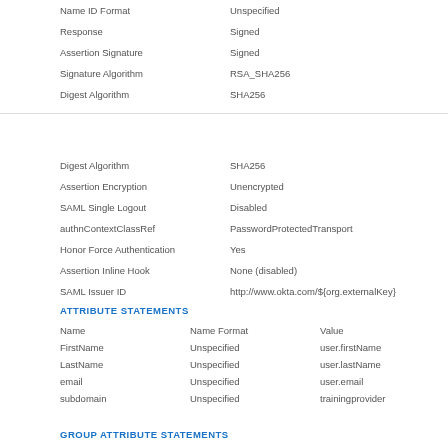| Name ID Format | Unspecified |
| Response | Signed |
| Assertion Signature | Signed |
| Signature Algorithm | RSA_SHA256 |
| Digest Algorithm | SHA256 |
| Digest Algorithm | SHA256 |
| Assertion Encryption | Unencrypted |
| SAML Single Logout | Disabled |
| authnContextClassRef | PasswordProtectedTransport |
| Honor Force Authentication | Yes |
| Assertion Inline Hook | None (disabled) |
| SAML Issuer ID | http://www.okta.com/${org.externalKey} |
ATTRIBUTE STATEMENTS
| Name | Name Format | Value |
| --- | --- | --- |
| FirstName | Unspecified | user.firstName |
| LastName | Unspecified | user.lastName |
| email | Unspecified | user.email |
| subdomain | Unspecified | trainingprovider |
GROUP ATTRIBUTE STATEMENTS